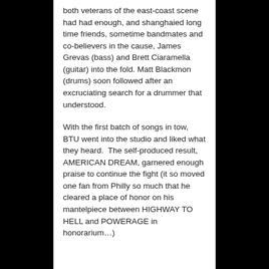both veterans of the east-coast scene had had enough, and shanghaied long time friends, sometime bandmates and co-believers in the cause, James Grevas (bass) and Brett Ciaramella (guitar) into the fold. Matt Blackmon (drums) soon followed after an excruciating search for a drummer that understood.
With the first batch of songs in tow, BTU went into the studio and liked what they heard.  The self-produced result, AMERICAN DREAM, garnered enough praise to continue the fight (it so moved one fan from Philly so much that he cleared a place of honor on his mantelpiece between HIGHWAY TO HELL and POWERAGE in honorarium…)